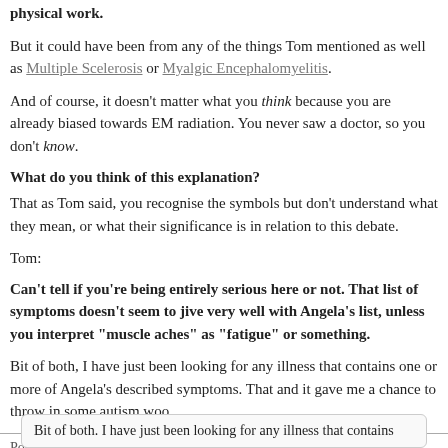physical work.
But it could have been from any of the things Tom mentioned as well as Multiple Scelerosis or Myalgic Encephalomyelitis.
And of course, it doesn't matter what you think because you are already biased towards EM radiation. You never saw a doctor, so you don't know.
What do you think of this explanation?
That as Tom said, you recognise the symbols but don't understand what they mean, or what their significance is in relation to this debate.
Tom:
Can't tell if you're being entirely serious here or not. That list of symptoms doesn't seem to jive very well with Angela's list, unless you interpret "muscle aches" as "fatigue" or something.
Bit of both, I have just been looking for any illness that contains one or more of Angela's described symptoms. That and it gave me a chance to throw in some autism woo.
Posted by: Jimmy_Blue | December 17, 2007 at 08:07 AM
Bit of both. I have just been looking for any illness that contains